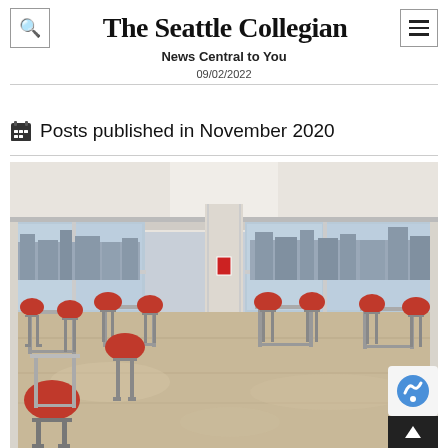The Seattle Collegian — News Central to You
09/02/2022
Posts published in November 2020
[Figure (photo): Interior of a college classroom with red bar stools at high tables, large windows overlooking a city skyline, reflective floor, white ceiling with columns and skylights.]